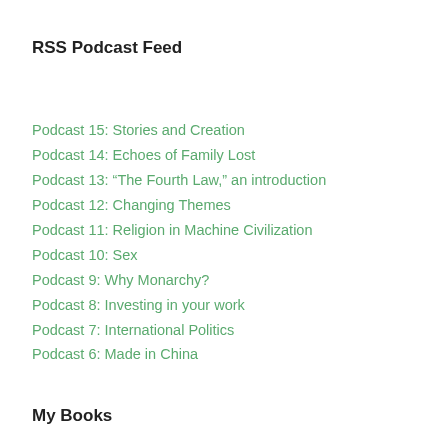RSS Podcast Feed
Podcast 15: Stories and Creation
Podcast 14: Echoes of Family Lost
Podcast 13: "The Fourth Law," an introduction
Podcast 12: Changing Themes
Podcast 11: Religion in Machine Civilization
Podcast 10: Sex
Podcast 9: Why Monarchy?
Podcast 8: Investing in your work
Podcast 7: International Politics
Podcast 6: Made in China
My Books